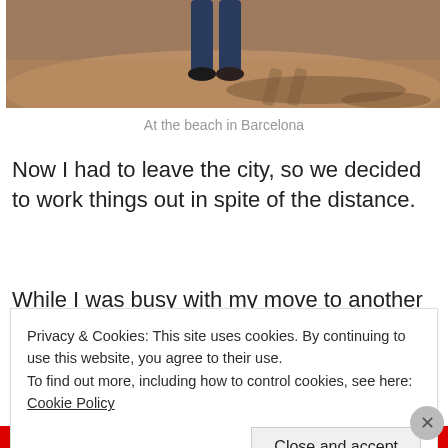[Figure (photo): A person standing on sandy beach, jeans and shoes visible from waist down, long shadows cast on sand]
At the beach in Barcelona
Now I had to leave the city, so we decided to work things out in spite of the distance.
While I was busy with my move to another city and
Privacy & Cookies: This site uses cookies. By continuing to use this website, you agree to their use.
To find out more, including how to control cookies, see here: Cookie Policy
Close and accept
Advertisements